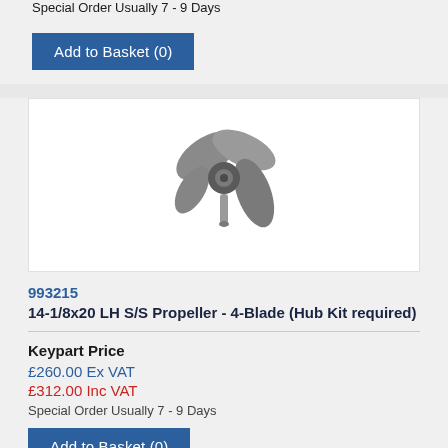Special Order Usually 7 - 9 Days
Add to Basket (0)
[Figure (photo): A stainless steel 4-blade marine propeller photographed on a white background]
993215
14-1/8x20 LH S/S Propeller - 4-Blade (Hub Kit required)
Keypart Price
£260.00 Ex VAT
£312.00 Inc VAT
Special Order Usually 7 - 9 Days
Add to Basket (0)